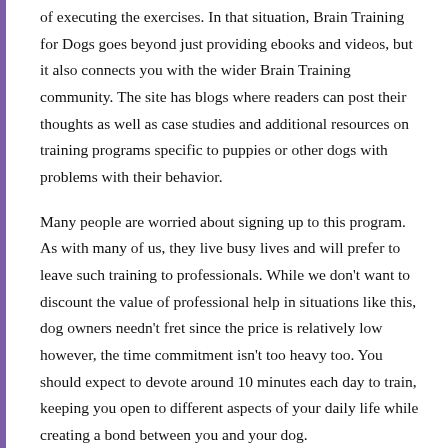of executing the exercises. In that situation, Brain Training for Dogs goes beyond just providing ebooks and videos, but it also connects you with the wider Brain Training community. The site has blogs where readers can post their thoughts as well as case studies and additional resources on training programs specific to puppies or other dogs with problems with their behavior.
Many people are worried about signing up to this program. As with many of us, they live busy lives and will prefer to leave such training to professionals. While we don't want to discount the value of professional help in situations like this, dog owners needn't fret since the price is relatively low however, the time commitment isn't too heavy too. You should expect to devote around 10 minutes each day to train, keeping you open to different aspects of your daily life while creating a bond between you and your dog.
Furthermore, you don't have to be concerned about the quality of the tutorials due to several key factors. Not only is Adrianne have an skilled knowledge and behavior to teach and educate the...